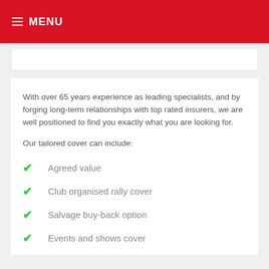MENU
With over 65 years experience as leading specialists, and by forging long-term relationships with top rated insurers, we are well positioned to find you exactly what you are looking for.
Our tailored cover can include:
Agreed value
Club organised rally cover
Salvage buy-back option
Events and shows cover